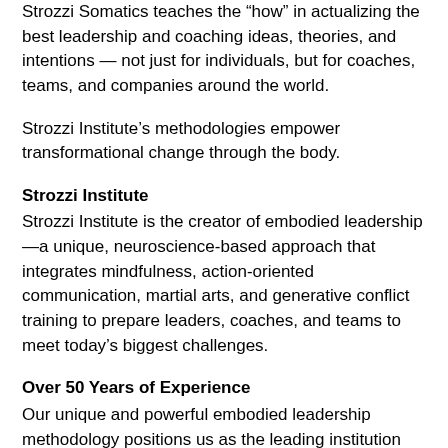Strozzi Somatics teaches the “how” in actualizing the best leadership and coaching ideas, theories, and intentions — not just for individuals, but for coaches, teams, and companies around the world.
Strozzi Institute’s methodologies empower transformational change through the body.
Strozzi Institute
Strozzi Institute is the creator of embodied leadership—a unique, neuroscience-based approach that integrates mindfulness, action-oriented communication, martial arts, and generative conflict training to prepare leaders, coaches, and teams to meet today’s biggest challenges.
Over 50 Years of Experience
Our unique and powerful embodied leadership methodology positions us as the leading institution